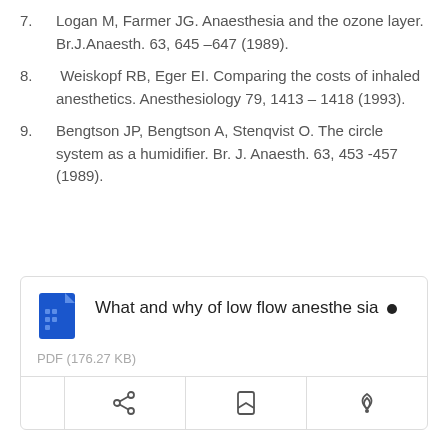7. Logan M, Farmer JG. Anaesthesia and the ozone layer. Br.J.Anaesth. 63, 645 –647 (1989).
8. Weiskopf RB, Eger EI. Comparing the costs of inhaled anesthetics. Anesthesiology 79, 1413 – 1418 (1993).
9. Bengtson JP, Bengtson A, Stenqvist O. The circle system as a humidifier. Br. J. Anaesth. 63, 453 -457 (1989).
[Figure (screenshot): A document card UI element showing a PDF file titled 'What and why of low flow anesthesia' with a blue document icon, file size PDF (176.27 KB), and action buttons for share, bookmark, and email.]